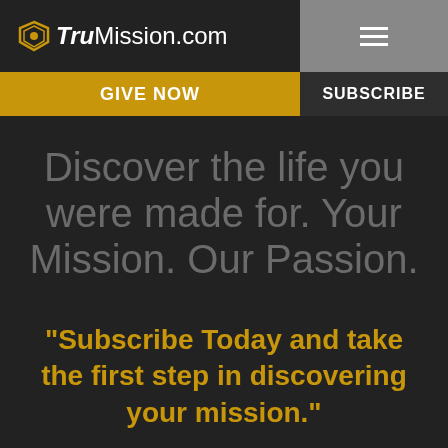TruMission.com
GIVE NOW
SUBSCRIBE
Discover the life you were made for. Your Mission. Our Passion.
"Subscribe Today and take the first step in discovering your mission."